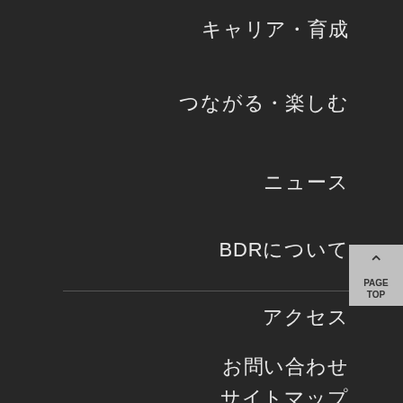キャリア・育成
つながる・楽しむ
ニュース
BDRについて
アクセス
お問い合わせ
サイトマップ
サイトポリシー